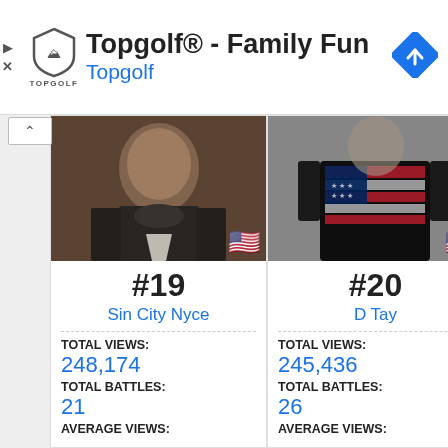[Figure (screenshot): Topgolf advertisement banner with shield logo, title 'Topgolf® - Family Fun', subtitle 'Topgolf', and a blue diamond navigation icon]
[Figure (photo): Profile photo of Sin City Nyce - close up of person in dark jacket, face partially visible, US flag emoji overlay]
[Figure (photo): Profile photo of D Tay - black and white photo showing person wearing American flag print tank top, US flag emoji overlay]
#19
Sin City Nyce
TOTAL VIEWS: 248,174
TOTAL BATTLES: 21
AVERAGE VIEWS:
#20
D Tay
TOTAL VIEWS: 245,436
TOTAL BATTLES: 26
AVERAGE VIEWS: